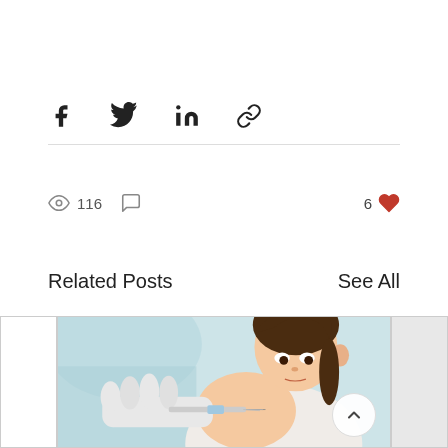[Figure (infographic): Social share icons: Facebook, Twitter, LinkedIn, and link/chain icon]
116 views, 0 comments, 6 likes
Related Posts
See All
[Figure (photo): Photo of a young Asian girl receiving a vaccination injection in her arm from a medical professional's gloved hand. The girl is looking down at the injection site.]